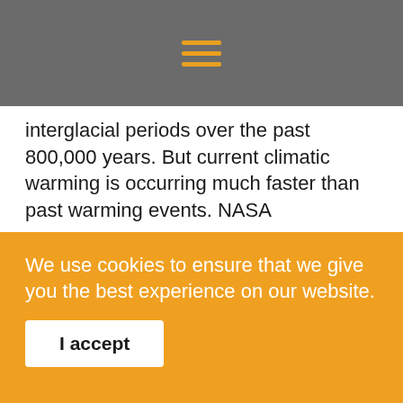☰
interglacial periods over the past 800,000 years. But current climatic warming is occurring much faster than past warming events. NASA
The past is prologue
One of the best-known examples of a rapid warming caused by release of geologic carbon is the Paleocene-Eocene Thermal Maximum, or PETM, a major global warming event that occured about 55 million years ago.
During the PETM, the Earth warmed by 9 to 16 degrees
We use cookies to ensure that we give you the best experience on our website.
I accept